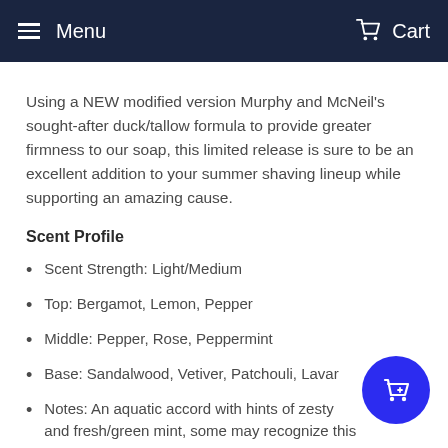Menu  Cart
Using a NEW modified version Murphy and McNeil's sought-after duck/tallow formula to provide greater firmness to our soap,  this limited release is sure to be an excellent addition to your summer shaving lineup while supporting an amazing cause.
Scent Profile
Scent Strength: Light/Medium
Top: Bergamot, Lemon, Pepper
Middle: Pepper, Rose, Peppermint
Base: Sandalwood, Vetiver, Patchouli, Lavar...
Notes: An aquatic accord with hints of zesty ... and fresh/green mint, some may recognize this